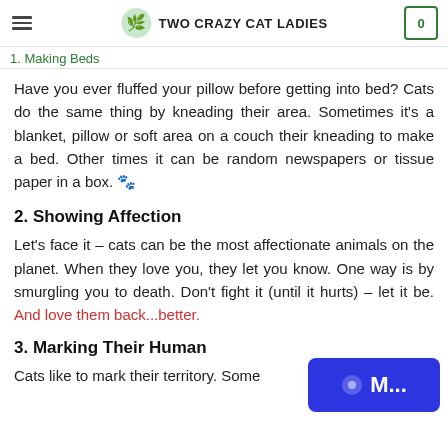TWO CRAZY CAT LADIES
1. Making Beds
Have you ever fluffed your pillow before getting into bed? Cats do the same thing by kneading their area. Sometimes it's a blanket, pillow or soft area on a couch their kneading to make a bed. Other times it can be random newspapers or tissue paper in a box. 🐾
2. Showing Affection
Let's face it – cats can be the most affectionate animals on the planet. When they love you, they let you know. One way is by smurgling you to death. Don't fight it (until it hurts) – let it be. And love them back...better.
3. Marking Their Human
Cats like to mark their territory. Some r expression of their love, and they'll often rub against